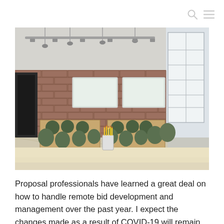[Figure (photo): A modern conference room / classroom with brick walls, pendant lights, track lighting, two whiteboards mounted on a brick wall, wooden tables, green upholstered chairs, a bright window on the right, and a pencil holder in the foreground on a light wood surface.]
Proposal professionals have learned a great deal on how to handle remote bid development and management over the past year. I expect the changes made as a result of COVID-19 will remain with us even when we return to our new normal. One of the most important changes, in my view, is the increased acceptance and promotion of virtual reviews.